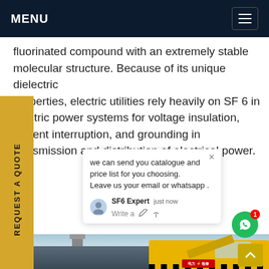MENU
fluorinated compound with an extremely stable molecular structure. Because of its unique dielectric properties, electric utilities rely heavily on SF 6 in electric power systems for voltage insulation, current interruption, and grounding in transmission and distribution of electrical power.
REQUEST A QUOTE
we can send you catalogue and price list for you choosing. Leave us your email or whatsapp .
SF6 Expert   just now
Write a
[Figure (photo): Yellow utility truck with industrial equipment at a power facility, used for SF6 gas handling]